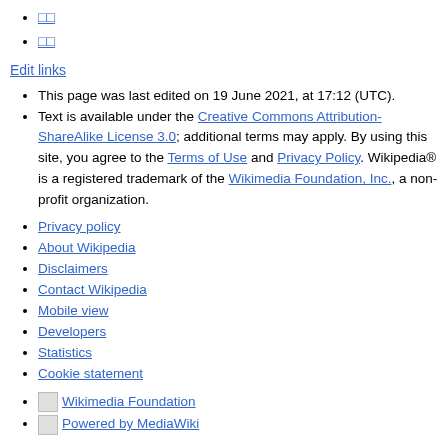□□
□□
Edit links
This page was last edited on 19 June 2021, at 17:12 (UTC).
Text is available under the Creative Commons Attribution-ShareAlike License 3.0; additional terms may apply. By using this site, you agree to the Terms of Use and Privacy Policy. Wikipedia® is a registered trademark of the Wikimedia Foundation, Inc., a non-profit organization.
Privacy policy
About Wikipedia
Disclaimers
Contact Wikipedia
Mobile view
Developers
Statistics
Cookie statement
Wikimedia Foundation
Powered by MediaWiki